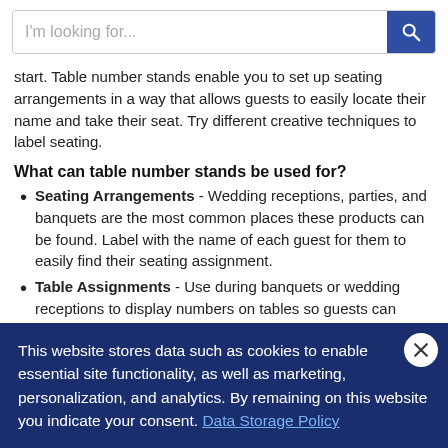[Figure (screenshot): Search bar with placeholder text 'I'm looking for...' and a dark blue search button with magnifying glass icon]
start. Table number stands enable you to set up seating arrangements in a way that allows guests to easily locate their name and take their seat. Try different creative techniques to label seating.
What can table number stands be used for?
Seating Arrangements - Wedding receptions, parties, and banquets are the most common places these products can be found. Label with the name of each guest for them to easily find their seating assignment.
Table Assignments - Use during banquets or wedding receptions to display numbers on tables so guests can easily find the table they are assigned to.
Favors or Gifts - Display photos, and give as gifts or...
This website stores data such as cookies to enable essential site functionality, as well as marketing, personalization, and analytics. By remaining on this website you indicate your consent. Data Storage Policy